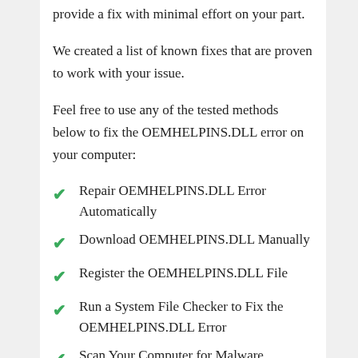provide a fix with minimal effort on your part.
We created a list of known fixes that are proven to work with your issue.
Feel free to use any of the tested methods below to fix the OEMHELPINS.DLL error on your computer:
Repair OEMHELPINS.DLL Error Automatically
Download OEMHELPINS.DLL Manually
Register the OEMHELPINS.DLL File
Run a System File Checker to Fix the OEMHELPINS.DLL Error
Scan Your Computer for Malware